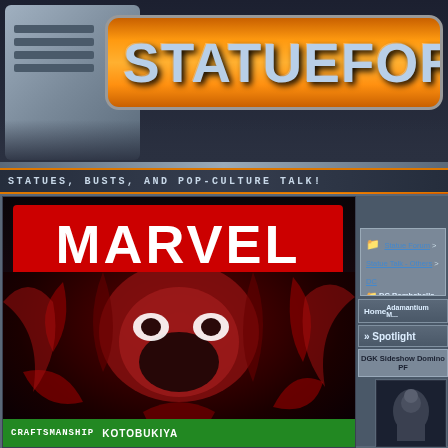[Figure (screenshot): StatueForum website header with orange logo banner reading STATUEFORU (partially visible), metallic gray background, and horizontal layout]
STATUES, BUSTS, AND POP-CULTURE TALK!
[Figure (photo): Marvel advertisement featuring Carnage character artwork with red symbiote design, Marvel logo in red box at top, and green Kotobukiya branding bar at bottom]
Statue Forum > Statue Talk - Others > DC
DC Bombshells Statues General Discu...
Home
Adamantium M...
» Spotlight
DGK Sideshow Domino PF
[Figure (photo): Small thumbnail image of DGK Sideshow Domino Premium Format statue]